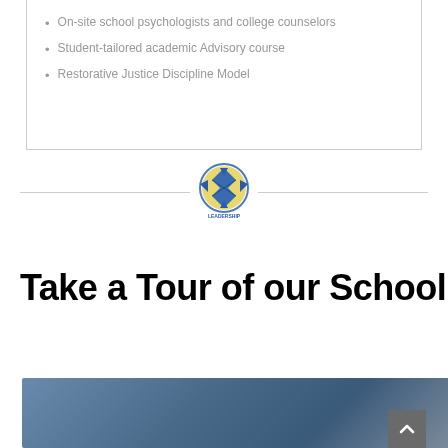On-site school psychologists and college counselors
Student-tailored academic Advisory course
Restorative Justice Discipline Model
[Figure (logo): School leadership circular emblem/logo in blue and gold with text LEADERSHIP below]
Take a Tour of our School
[Figure (photo): Bottom portion of a school tour image, blue-gray gradient background, partially visible]